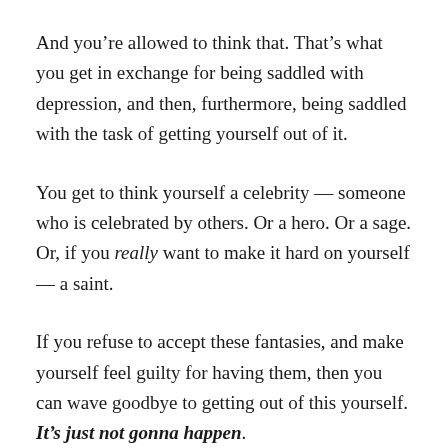And you're allowed to think that. That's what you get in exchange for being saddled with depression, and then, furthermore, being saddled with the task of getting yourself out of it.
You get to think yourself a celebrity — someone who is celebrated by others. Or a hero. Or a sage. Or, if you really want to make it hard on yourself — a saint.
If you refuse to accept these fantasies, and make yourself feel guilty for having them, then you can wave goodbye to getting out of this yourself. It's just not gonna happen.